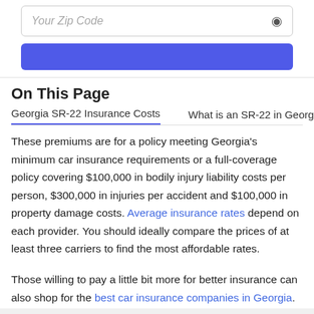Your Zip Code
On This Page
Georgia SR-22 Insurance Costs     What is an SR-22 in Georgia
These premiums are for a policy meeting Georgia's minimum car insurance requirements or a full-coverage policy covering $100,000 in bodily injury liability costs per person, $300,000 in injuries per accident and $100,000 in property damage costs. Average insurance rates depend on each provider. You should ideally compare the prices of at least three carriers to find the most affordable rates.
Those willing to pay a little bit more for better insurance can also shop for the best car insurance companies in Georgia.